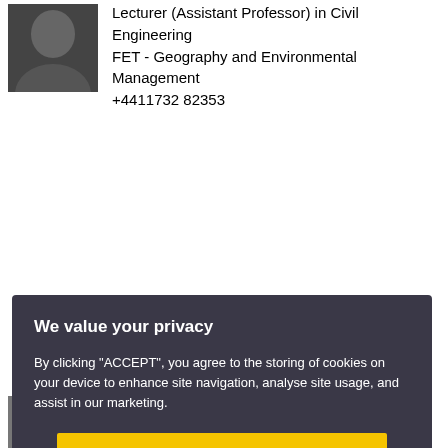[Figure (photo): Headshot photo of a person, dark background]
Lecturer (Assistant Professor) in Civil Engineering
FET - Geography and Environmental Management
+4411732 82353
We value your privacy

By clicking "ACCEPT", you agree to the storing of cookies on your device to enhance site navigation, analyse site usage, and assist in our marketing.

ACCEPT

VIEW COOKIE SETTINGS
[Figure (photo): Partial headshot of another person at bottom of page]
Senior Lecturer in Architecture
FET - Architecture and Built Enviro...